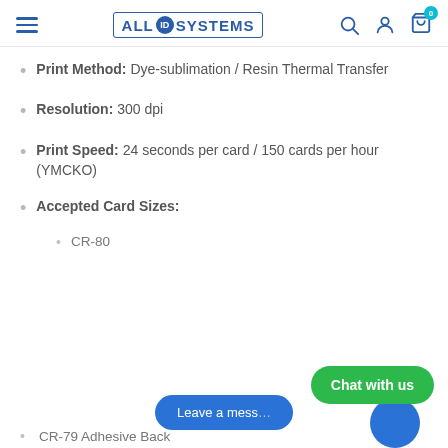ALL ID SYSTEMS
Print Method: Dye-sublimation / Resin Thermal Transfer
Resolution: 300 dpi
Print Speed: 24 seconds per card / 150 cards per hour (YMCKO)
Accepted Card Sizes:
CR-80
CR-79 Adhesive Back